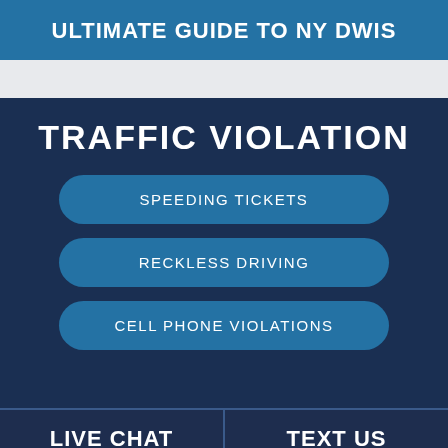ULTIMATE GUIDE TO NY DWIS
TRAFFIC VIOLATION
SPEEDING TICKETS
RECKLESS DRIVING
CELL PHONE VIOLATIONS
LIVE CHAT  |  TEXT US